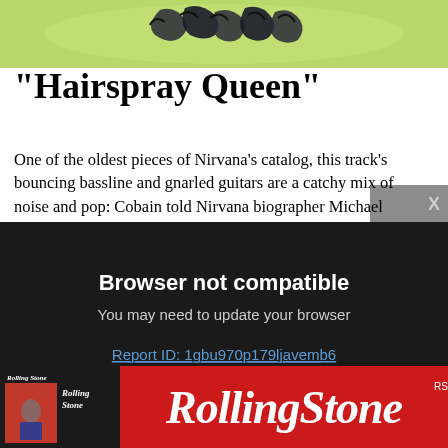[Figure (illustration): Top portion of an illustrated/graphic image with green/yellow background and dark bird-like figures]
“Hairspray Queen”
One of the oldest pieces of Nirvana’s catalog, this track’s bouncing bassline and gnarled guitars are a catchy mix of noise and pop: Cobain told Nirvana biographer Michael Azerrad that he regretted not including it on Bleach. A 1988 rehearsal of the song collected on With The Lights Out pr... and ends with Ku... that he’s been pla... But it would be b... vocals on the vers...
MAURA JOHNS...
[Figure (screenshot): Browser not compatible modal overlay on dark background with close button X. Text: Browser not compatible. You may need to update your browser. Report ID: 1gbu970p179ljavemb6]
[Figure (logo): Rolling Stone advertisement banner with red background showing the Rolling Stone logo in large italic text, with a magazine cover thumbnail on the left side]